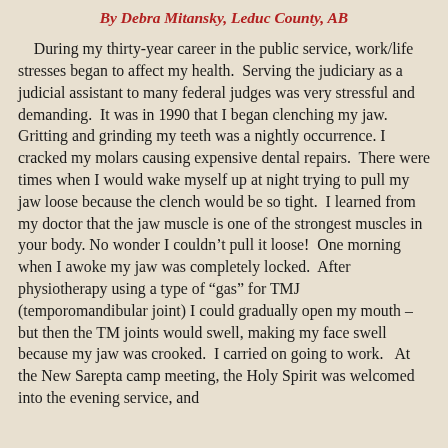By Debra Mitansky, Leduc County, AB
During my thirty-year career in the public service, work/life stresses began to affect my health.  Serving the judiciary as a judicial assistant to many federal judges was very stressful and demanding.  It was in 1990 that I began clenching my jaw. Gritting and grinding my teeth was a nightly occurrence. I cracked my molars causing expensive dental repairs.  There were times when I would wake myself up at night trying to pull my jaw loose because the clench would be so tight.  I learned from my doctor that the jaw muscle is one of the strongest muscles in your body. No wonder I couldn't pull it loose!  One morning when I awoke my jaw was completely locked.  After physiotherapy using a type of “gas” for TMJ (temporomandibular joint) I could gradually open my mouth – but then the TM joints would swell, making my face swell because my jaw was crooked.  I carried on going to work.   At the New Sarepta camp meeting, the Holy Spirit was welcomed into the evening service, and